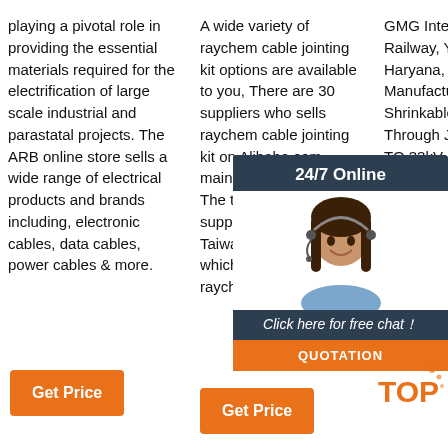playing a pivotal role in providing the essential materials required for the electrification of large scale industrial and parastatal projects. The ARB online store sells a wide range of electrical products and brands including, electronic cables, data cables, power cables & more.
A wide variety of raychem cable jointing kit options are available to you, There are 30 suppliers who sells raychem cable jointing kit on Alibaba.com, mainly located in Asia. The top countries of suppliers are China, Taiwan, China, from which the percentage of raychem …
GMG International, Railway, Yamuna, Haryana, Manufacturer Heat Shrinkable Straight Through Joint Kit - UP TO 33kV, Heat Shrinkable Termination for HT Cable, Heat Shrinkable Dual Wall Tubing, Heat Shrinkable Right Angle Boot and Cables & Wiring Components since 2003
[Figure (other): Chat widget overlay showing a woman with headset, 24/7 Online label, Click here for free chat button, and QUOTATION button]
Get Price
Get Price